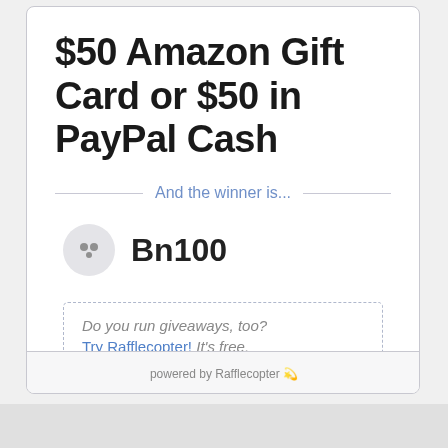$50 Amazon Gift Card or $50 in PayPal Cash
And the winner is...
Bn100
Do you run giveaways, too? Try Rafflecopter! It's free.
powered by Rafflecopter